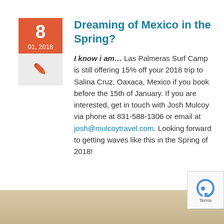Dreaming of Mexico in the Spring?
I know i am… Las Palmeras Surf Camp is still offering 15% off your 2018 trip to Salina Cruz, Oaxaca, Mexico if you book before the 15th of January. If you are interested, get in touch with Josh Mulcoy via phone at 831-588-1306 or email at josh@mulcoytravel.com. Looking forward to getting waves like this in the Spring of 2018!
[Figure (photo): Partial photo visible at bottom of page showing a sandy/beach scene]